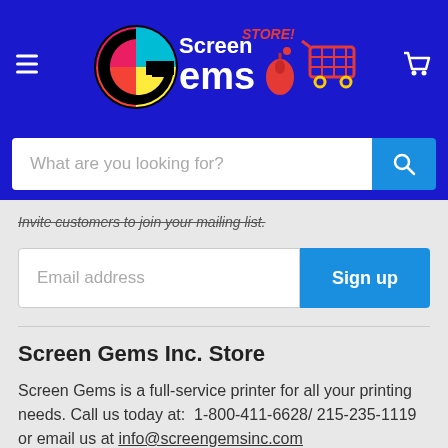[Figure (logo): Screen Gems Store logo with colorful G icon, mouse and shopping cart graphics on blue background]
What are you looking for?
Invite customers to join your mailing list.
Email address
Sign up
Screen Gems Inc. Store
Screen Gems is a full-service printer for all your printing needs. Call us today at: 1-800-411-6628/ 215-235-1119 or email us at info@screengemsinc.com